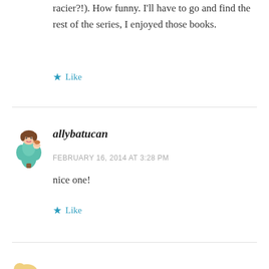racier?!). How funny. I'll have to go and find the rest of the series, I enjoyed those books.
Like
allybatucan
FEBRUARY 16, 2014 AT 3:28 PM
nice one!
Like